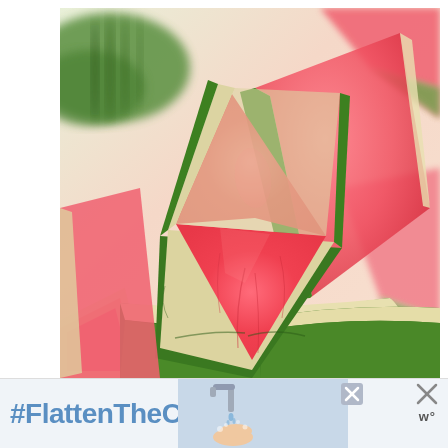[Figure (photo): Close-up photo of multiple sliced watermelon triangles piled together, showing bright red flesh and dark green striped rind, with green uncut watermelons visible in the background. Seedless watermelon slices arranged on a white background.]
#FlattenTheCurve